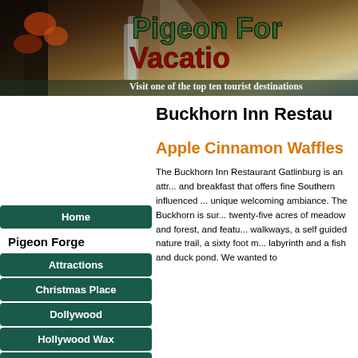[Figure (photo): Website header banner with forest waterfall background image for Pigeon Forge Vacations website]
Buckhorn Inn Restaurant
Apple Cinnamon Waffles
Home
Pigeon Forge
Attractions
Christmas Place
Dollywood
Hollywood Wax
Parrot Mountain
The Buckhorn Inn Restaurant Gatlinburg is an attr... and breakfast that offers fine Southern influenced ... unique welcoming ambiance. The Buckhorn is sur... twenty-five acres of meadow and forest, and featu... walkways, a self guided nature trail, a sixty foot m... labyrinth and a fish and duck pond. We wanted to